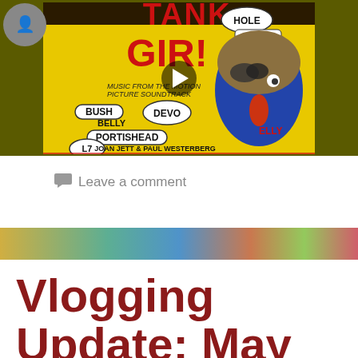[Figure (screenshot): Video thumbnail showing Tank Girl movie soundtrack album cover with colorful comic-book style artwork including text: TANK GIRL, HOLE, ICE-T, BUSH, BELLY, DEVO, PORTISHEAD, L7, JOAN JETT & PAUL WESTERBERG, MUSIC FROM THE MOTION PICTURE SOUNDTRACK. Play button overlay in center.]
Leave a comment
[Figure (photo): Colorful abstract banner image with teal, gold, and red tones serving as a divider between posts.]
Vlogging Update: May 2017